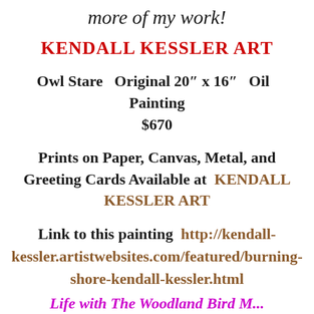more of my work!
KENDALL KESSLER ART
Owl Stare  Original 20″ x 16″  Oil  Painting
$670
Prints on Paper, Canvas, Metal, and Greeting Cards Available at  KENDALL KESSLER ART
Link to this painting  http://kendall-kessler.artistwebsites.com/featured/burning-shore-kendall-kessler.html
Life with The Woodland Bird M...